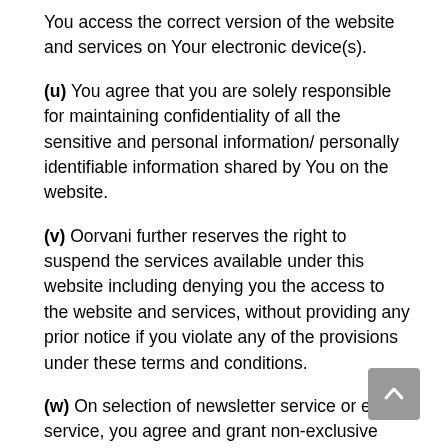You access the correct version of the website and services on Your electronic device(s).
(u) You agree that you are solely responsible for maintaining confidentiality of all the sensitive and personal information/ personally identifiable information shared by You on the website.
(v) Oorvani further reserves the right to suspend the services available under this website including denying you the access to the website and services, without providing any prior notice if you violate any of the provisions under these terms and conditions.
(w) On selection of newsletter service or email service, you agree and grant non-exclusive permission and irrevocable right to use your email address, for the purpose of sending emails / publications/ news / newsletters or for any other purpose by way of messages